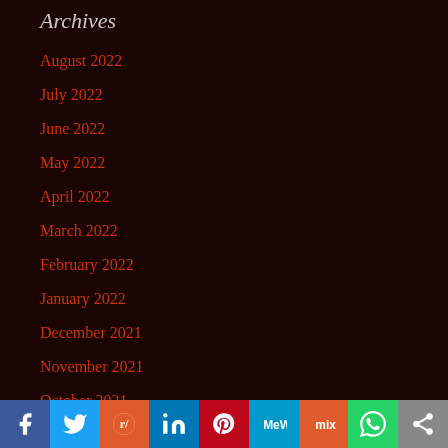Archives
August 2022
July 2022
June 2022
May 2022
April 2022
March 2022
February 2022
January 2022
December 2021
November 2021
October 2021
September 2021
Facebook Twitter Reddit LinkedIn Pinterest MeWe Mix WhatsApp Share